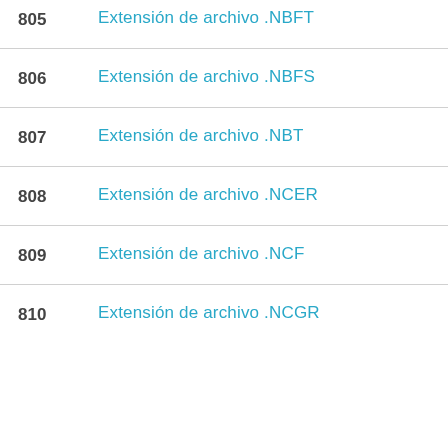805  Extensión de archivo .NBFT
806  Extensión de archivo .NBFS
807  Extensión de archivo .NBT
808  Extensión de archivo .NCER
809  Extensión de archivo .NCF
810  Extensión de archivo .NCGR